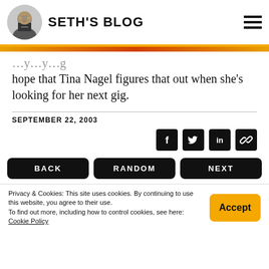SETH'S BLOG
hope that Tina Nagel figures that out when she's looking for her next gig.
SEPTEMBER 22, 2003
[Figure (other): Social share icons: Facebook, Twitter, LinkedIn, Link]
BACK   RANDOM   NEXT
Privacy & Cookies: This site uses cookies. By continuing to use this website, you agree to their use.
To find out more, including how to control cookies, see here: Cookie Policy